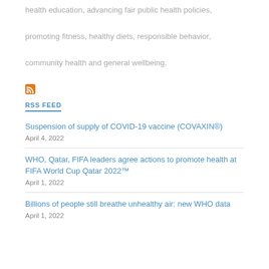health education, advancing fair public health policies, promoting fitness, healthy diets, responsible behavior, community health and general wellbeing.
[Figure (logo): RSS feed icon - orange square with white wifi/signal symbol]
RSS FEED
Suspension of supply of COVID-19 vaccine (COVAXIN®)
April 4, 2022
WHO, Qatar, FIFA leaders agree actions to promote health at FIFA World Cup Qatar 2022™
April 1, 2022
Billions of people still breathe unhealthy air: new WHO data
April 1, 2022